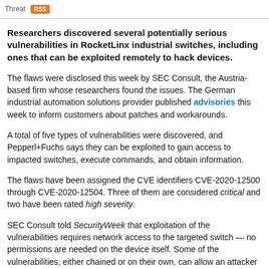Threat RSS
Researchers discovered several potentially serious vulnerabilities in RocketLinx industrial switches, including ones that can be exploited remotely to hack devices.
The flaws were disclosed this week by SEC Consult, the Austria-based firm whose researchers found the issues. The German industrial automation solutions provider published advisories this week to inform customers about patches and workarounds.
A total of five types of vulnerabilities were discovered, and Pepperl+Fuchs says they can be exploited to gain access to impacted switches, execute commands, and obtain information.
The flaws have been assigned the CVE identifiers CVE-2020-12500 through CVE-2020-12504. Three of them are considered critical and two have been rated high severity.
SEC Consult told SecurityWeek that exploitation of the vulnerabilities requires network access to the targeted switch — no permissions are needed on the device itself. Some of the vulnerabilities, either chained or on their own, can allow an attacker to take complete control of a targeted industrial switch.